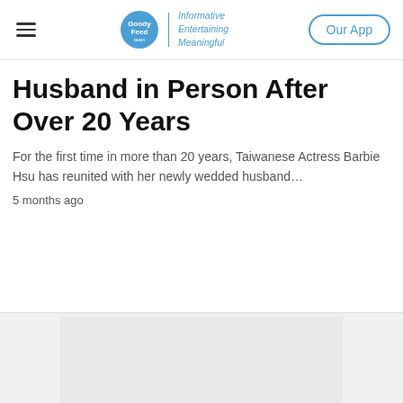Goody Feed | Informative Entertaining Meaningful | Our App
Husband in Person After Over 20 Years
For the first time in more than 20 years, Taiwanese Actress Barbie Hsu has reunited with her newly wedded husband…
5 months ago
[Figure (other): Gray placeholder image at bottom of page]